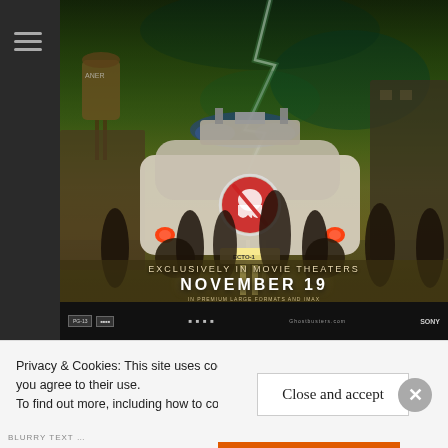[Figure (photo): Ghostbusters: Afterlife movie poster showing the iconic Ecto-1 car on a road at night with lightning in the sky, surrounded by character silhouettes. Text reads: EXCLUSIVELY IN MOVIE THEATERS / NOVEMBER 19 / IN PREMIUM LARGE FORMATS AND IMAX]
Privacy & Cookies: This site uses cookies. By continu... you agree to their use. To find out more, including how to control cookies, s...
Close and accept